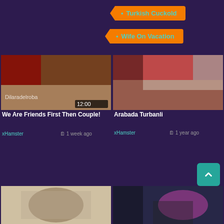Turkish Cuckold
Wife On Vacation
[Figure (screenshot): Video thumbnail showing intimate scene with watermark 'Dilaradelroba', duration 12:00]
We Are Friends First Then Couple!
xHamster
1 week ago
[Figure (screenshot): Video thumbnail showing person in red clothing in a car]
Arabada Turbanli
xHamster
1 year ago
[Figure (screenshot): Video thumbnail showing woman in headscarf]
[Figure (screenshot): Video thumbnail showing person with pink hair]